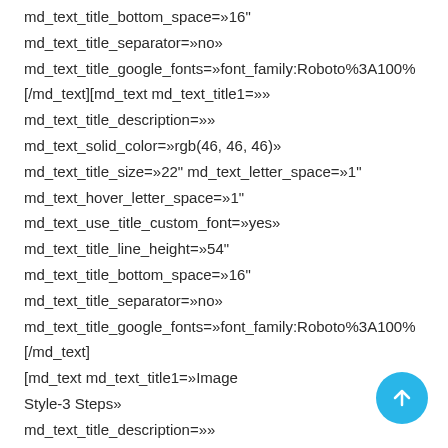md_text_title_bottom_space=»16"
md_text_title_separator=»no»
md_text_title_google_fonts=»font_family:Roboto%3A100%
[/md_text][md_text md_text_title1=»»
md_text_title_description=»»
md_text_solid_color=»rgb(46, 46, 46)»
md_text_title_size=»22" md_text_letter_space=»1"
md_text_hover_letter_space=»1"
md_text_use_title_custom_font=»yes»
md_text_title_line_height=»54"
md_text_title_bottom_space=»16"
md_text_title_separator=»no»
md_text_title_google_fonts=»font_family:Roboto%3A100%
[/md_text]
    [md_text md_text_title1=»Image
    Style-3 Steps»
    md_text_title_description=»»